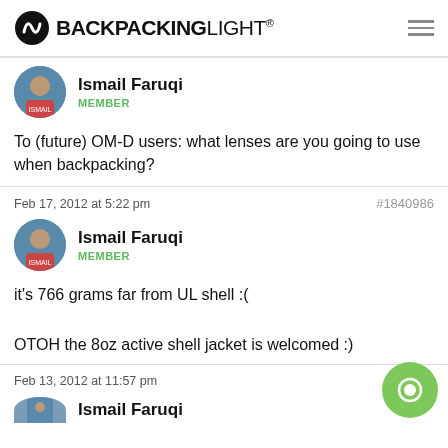BACKPACKINGLIGHT
[Figure (photo): Avatar of Ismail Faruqi]
Ismail Faruqi
MEMBER
To (future) OM-D users: what lenses are you going to use when backpacking?
Feb 17, 2012 at 5:22 pm
#1840986
[Figure (photo): Avatar of Ismail Faruqi]
Ismail Faruqi
MEMBER
it's 766 grams far from UL shell :(

OTOH the 8oz active shell jacket is welcomed :)
Feb 13, 2012 at 11:57 pm
Ismail Faruqi